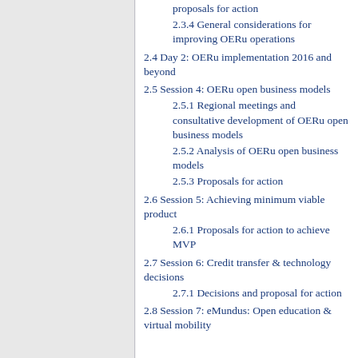proposals for action
2.3.4 General considerations for improving OERu operations
2.4 Day 2: OERu implementation 2016 and beyond
2.5 Session 4: OERu open business models
2.5.1 Regional meetings and consultative development of OERu open business models
2.5.2 Analysis of OERu open business models
2.5.3 Proposals for action
2.6 Session 5: Achieving minimum viable product
2.6.1 Proposals for action to achieve MVP
2.7 Session 6: Credit transfer & technology decisions
2.7.1 Decisions and proposal for action
2.8 Session 7: eMundus: Open education & virtual mobility